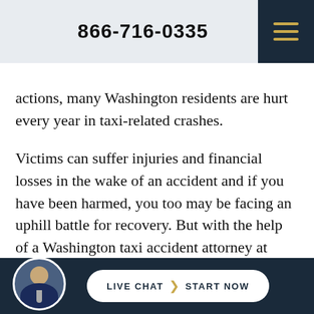866-716-0335
actions, many Washington residents are hurt every year in taxi-related crashes.
Victims can suffer injuries and financial losses in the wake of an accident and if you have been harmed, you too may be facing an uphill battle for recovery. But with the help of a Washington taxi accident attorney at Pendergast Law, you can hold at-fault parties responsible and gain compensation that pays for your injuries and costs. Recovery is
LIVE CHAT ❯ START NOW